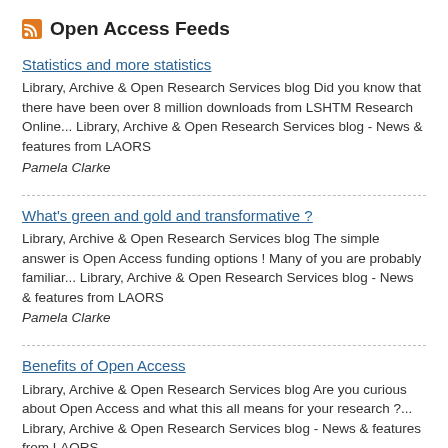Open Access Feeds
Statistics and more statistics
Library, Archive & Open Research Services blog Did you know that there have been over 8 million downloads from LSHTM Research Online... Library, Archive & Open Research Services blog - News & features from LAORS
Pamela Clarke
What's green and gold and transformative ?
Library, Archive & Open Research Services blog The simple answer is Open Access funding options ! Many of you are probably familiar... Library, Archive & Open Research Services blog - News & features from LAORS
Pamela Clarke
Benefits of Open Access
Library, Archive & Open Research Services blog Are you curious about Open Access and what this all means for your research ?... Library, Archive & Open Research Services blog - News & features from LAORS